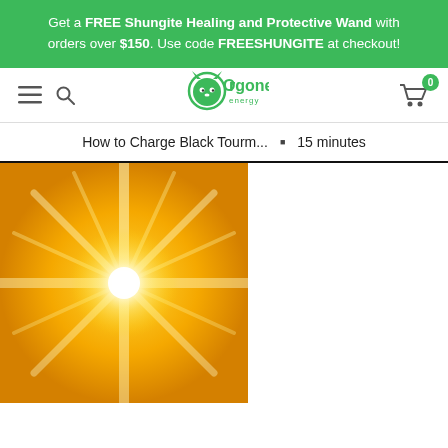Get a FREE Shungite Healing and Protective Wand with orders over $150. Use code FREESHUNGITE at checkout!
[Figure (logo): Orgone Energy logo — green stylized fox/energy icon with text 'Orgone energy']
How to Charge Black Tourm... • 15 minutes
[Figure (photo): Bright white-yellow starburst sun on golden orange background, sunlight rays radiating outward]